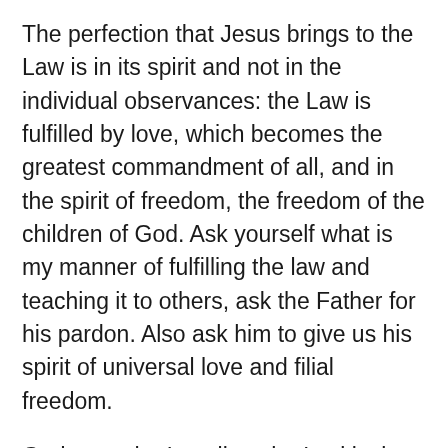The perfection that Jesus brings to the Law is in its spirit and not in the individual observances: the Law is fulfilled by love, which becomes the greatest commandment of all, and in the spirit of freedom, the freedom of the children of God. Ask yourself what is my manner of fulfilling the law and teaching it to others, ask the Father for his pardon. Also ask him to give us his spirit of universal love and filial freedom.
God gave the Israelites the Levitical laws in order to help them learn how to be a people “of his own possession” (Deuteronomy 7:6). Before the Exodus, they had lived in Egypt for over four hundred years. They needed very specific, restrictive laws to keep them from falling back into the habits they had